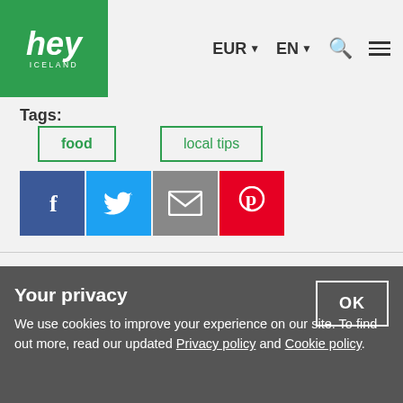hey ICELAND  EUR ▼  EN ▼  🔍  ≡
Tags:
food
local tips
[Figure (infographic): Social share buttons: Facebook (blue), Twitter (light blue), Email (grey), Pinterest (red)]
◀ Previous Post    Next Post ▶
Newsletter
Your privacy
We use cookies to improve your experience on our site. To find out more, read our updated Privacy policy and Cookie policy.